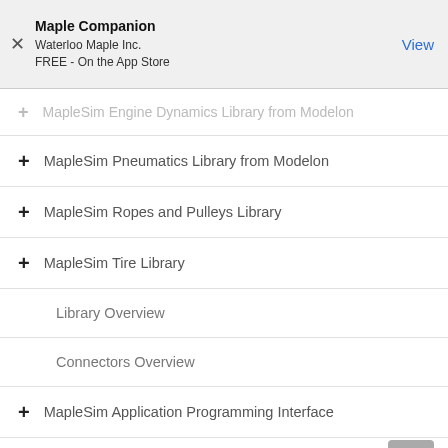Maple Companion
Waterloo Maple Inc.
FREE - On the App Store
MapleSim Engine Dynamics Library from Modelon
MapleSim Pneumatics Library from Modelon
MapleSim Ropes and Pulleys Library
MapleSim Tire Library
Library Overview
Connectors Overview
MapleSim Application Programming Interface
Previous Releases
What's New in MapleSim 2020